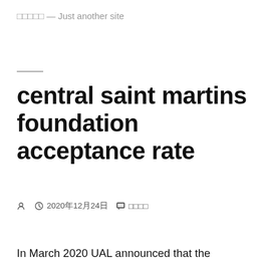□□□□□ — Just another site
central saint martins foundation acceptance rate
🧑 🕐 2020年12月24日 🗂 □□□□
In March 2020 UAL announced that the